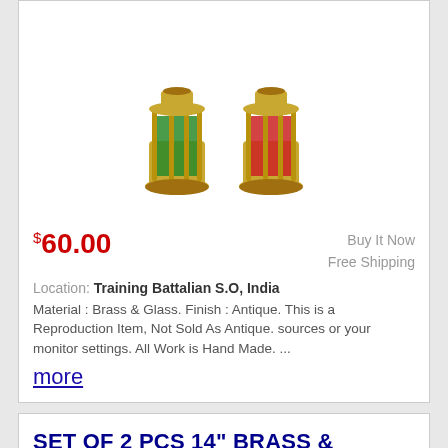[Figure (photo): Two brass nautical ship lanterns with green and red glass panels on a white background]
$60.00
Buy It Now
Free Shipping
Location: Training Battalian S.O, India
Material : Brass & Glass. Finish : Antique. This is a Reproduction Item, Not Sold As Antique. sources or your monitor settings. All Work is Hand Made. ...
more
SET OF 2 PCS 14" BRASS & COPPER ANCHOR BOAT LIGHT OIL LAMP NAUTICAL SHIP LANTERN